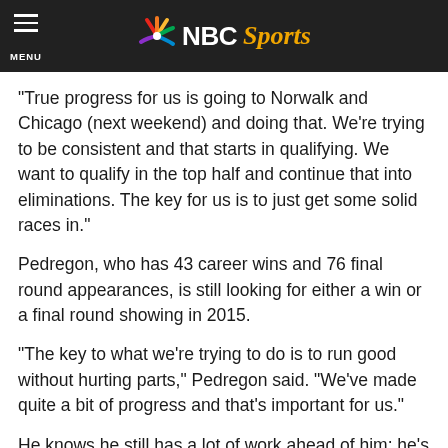NBC Sports
“True progress for us is going to Norwalk and Chicago (next weekend) and doing that. We’re trying to be consistent and that starts in qualifying. We want to qualify in the top half and continue that into eliminations. The key for us is to just get some solid races in.”
Pedregon, who has 43 career wins and 76 final round appearances, is still looking for either a win or a final round showing in 2015.
“The key to what we’re trying to do is to run good without hurting parts,” Pedregon said. “We’ve made quite a bit of progress and that’s important for us.”
He knows he still has a lot of work ahead of him: he’s 14th in the standings with just seven races remaining – including this weekend – to be one of 10 drivers to qualify